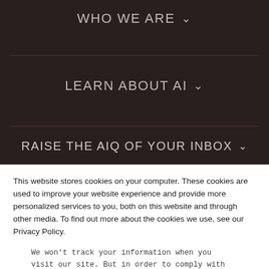WHO WE ARE ∨
LEARN ABOUT AI ∨
RAISE THE AIQ OF YOUR INBOX ∨
This website stores cookies on your computer. These cookies are used to improve your website experience and provide more personalized services to you, both on this website and through other media. To find out more about the cookies we use, see our Privacy Policy.
We won't track your information when you visit our site. But in order to comply with your preferences, we'll have to use just one tiny cookie so that you're not asked to make this choice again.
Accept   Decline